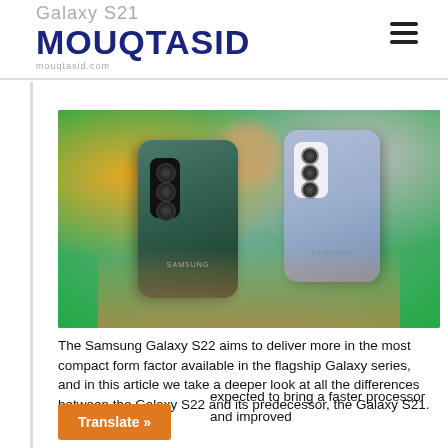Galaxy S21 MOUQTASID
[Figure (photo): A person holding two Samsung smartphones — a green Galaxy S22 in the left hand and a blue/silver Galaxy S21 in the right hand, both showing their rear camera systems]
The Samsung Galaxy S22 aims to deliver more in the most compact form factor available in the flagship Galaxy series, and in this article we take a deeper look at all the differences between the Galaxy S22 and its predecessor, the Galaxy S21.
expected to bring a faster processor and improved